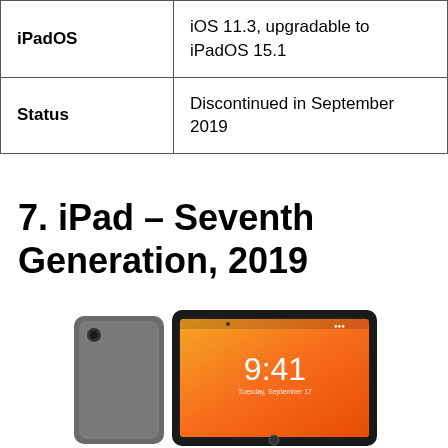|  |  |
| --- | --- |
| iPadOS | iOS 11.3, upgradable to iPadOS 15.1 |
| Status | Discontinued in September 2019 |
7. iPad – Seventh Generation, 2019
[Figure (photo): iPad 7th generation showing the device face with lock screen displaying 9:41 and an orange/yellow gradient wallpaper, alongside the back of a space gray iPad]